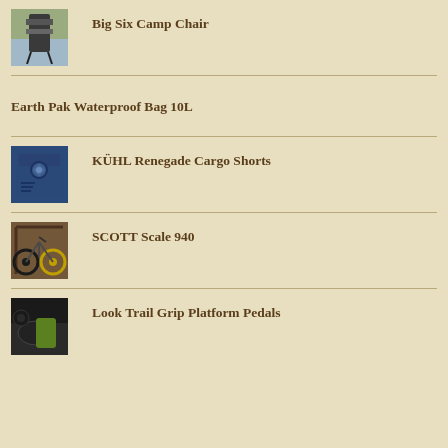[Figure (photo): Photo of Big Six Camp Chair]
Big Six Camp Chair
Earth Pak Waterproof Bag 10L
[Figure (photo): Photo of KÜHL Renegade Cargo Shorts (blue denim)]
KÜHL Renegade Cargo Shorts
[Figure (photo): Photo of SCOTT Scale 940 mountain bike]
SCOTT Scale 940
[Figure (photo): Photo of Look Trail Grip Platform Pedals]
Look Trail Grip Platform Pedals